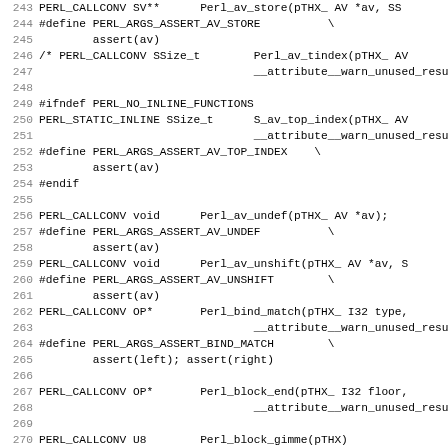Source code listing showing Perl API function declarations and preprocessor macros, lines 243-274